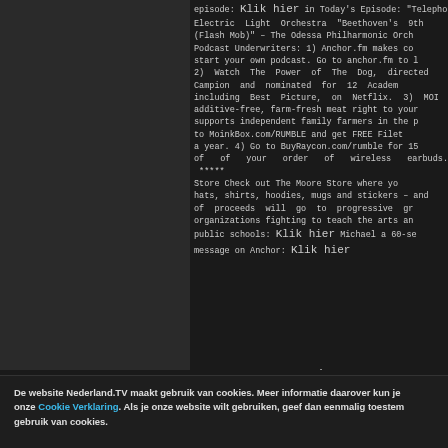episode: Klik hier in Today's Episode: "Telepho Electric Light Orchestra "Beethoven's 9th (Flash Mob)" – The Odessa Philharmonic Orch Podcast Underwriters: 1) Anchor.fm makes co start your own podcast. Go to anchor.fm to l 2) Watch The Power of The Dog, directed Campion and nominated for 12 Academ including Best Picture, on Netflix. 3) MOI additive-free, farm-fresh meat right to your supports independent family farmers in the p to MoinkBox.com/RUMBLE and get FREE Filet a year. 4) Go to BuyRaycon.com/rumble for 15 of of your order of wireless earbuds. ***** Store Check out The Moore Store where yo hats, shirts, hoodies, mugs and stickers – and of proceeds will go to progressive gr organizations fighting to teach the arts an public schools: Klik hier Michael a 60-se message on Anchor: Klik hier
12-02-2022 10:00 – YouTube
De website Nederland.TV maakt gebruik van cookies. Meer informatie daarover kun je onze Cookie Verklaring. Als je onze website wilt gebruiken, geef dan eenmalig toestem gebruik van cookies.
Ik accepteer de cookies